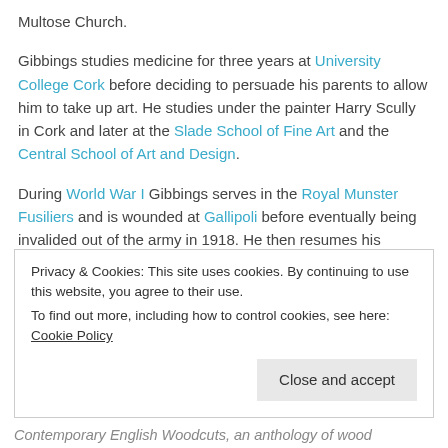Multose Church.
Gibbings studies medicine for three years at University College Cork before deciding to persuade his parents to allow him to take up art. He studies under the painter Harry Scully in Cork and later at the Slade School of Fine Art and the Central School of Art and Design.
During World War I Gibbings serves in the Royal Munster Fusiliers and is wounded at Gallipoli before eventually being invalided out of the army in 1918. He then resumes his studies in London.
Privacy & Cookies: This site uses cookies. By continuing to use this website, you agree to their use. To find out more, including how to control cookies, see here: Cookie Policy. Close and accept
Contemporary English Woodcuts, an anthology of wood